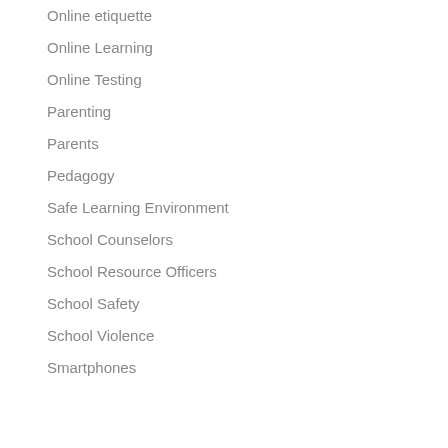Online etiquette
Online Learning
Online Testing
Parenting
Parents
Pedagogy
Safe Learning Environment
School Counselors
School Resource Officers
School Safety
School Violence
Smartphones